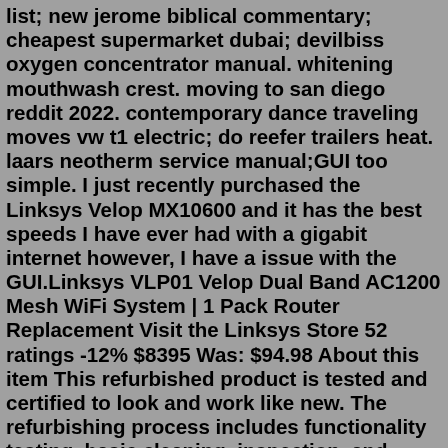list; new jerome biblical commentary; cheapest supermarket dubai; devilbiss oxygen concentrator manual. whitening mouthwash crest. moving to san diego reddit 2022. contemporary dance traveling moves vw t1 electric; do reefer trailers heat. laars neotherm service manual;GUI too simple. I just recently purchased the Linksys Velop MX10600 and it has the best speeds I have ever had with a gigabit internet however, I have a issue with the GUI.Linksys VLP01 Velop Dual Band AC1200 Mesh WiFi System | 1 Pack Router Replacement Visit the Linksys Store 52 ratings -12% $8395 Was: $94.98 About this item This refurbished product is tested and certified to look and work like new. The refurbishing process includes functionality testing, basic cleaning, inspection, and repackaging.WHW0101: 1-Pack White (AC1300) - $130; WHW0102: 2-Pack White (AC2600) - $200; WHW0103: 3-Pack White (AC3900) - $300; Model number WHW01, VLP01, and A01 are all internally identical products. Wi-Fi Certified : WFA76391 (as of 03/31/2019) N... NT5GG139M16IP-DI i di t d